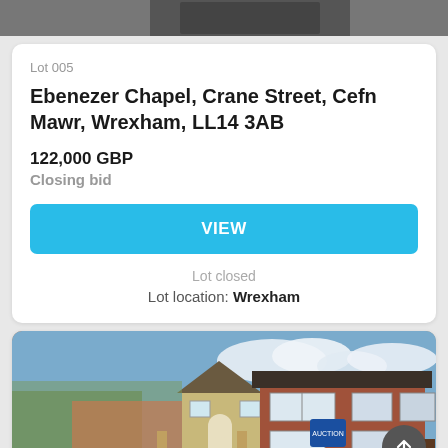[Figure (photo): Top partial photo strip of a property, dark background]
Lot 005
Ebenezer Chapel, Crane Street, Cefn Mawr, Wrexham, LL14 3AB
122,000 GBP
Closing bid
VIEW
Lot closed
Lot location: Wrexham
[Figure (photo): Photo of a semi-detached brick residential house on a street, with an auction sign visible and a scroll-to-top button overlay]